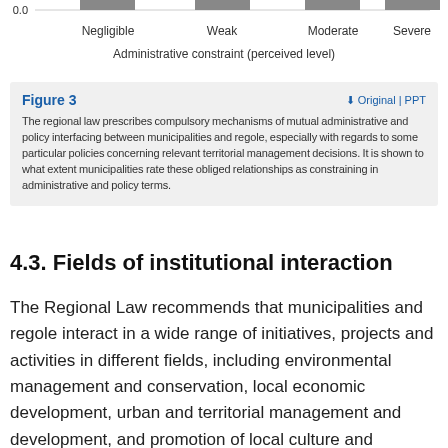[Figure (bar-chart): Partial bar chart visible at top of page showing administrative constraint perceived levels on x-axis; bars truncated at top]
Figure 3
The regional law prescribes compulsory mechanisms of mutual administrative and policy interfacing between municipalities and regole, especially with regards to some particular policies concerning relevant territorial management decisions. It is shown to what extent municipalities rate these obliged relationships as constraining in administrative and policy terms.
4.3. Fields of institutional interaction
The Regional Law recommends that municipalities and regole interact in a wide range of initiatives, projects and activities in different fields, including environmental management and conservation, local economic development, urban and territorial management and development, and promotion of local culture and traditions. Through this section of the